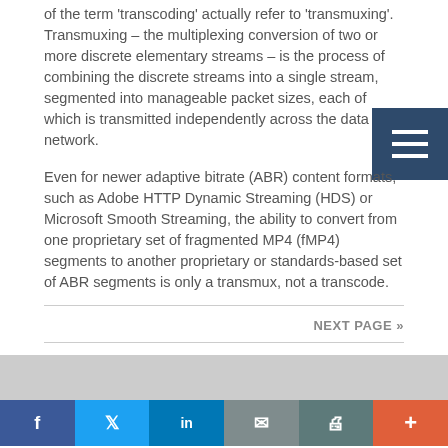of the term 'transcoding' actually refer to 'transmuxing'. Transmuxing – the multiplexing conversion of two or more discrete elementary streams – is the process of combining the discrete streams into a single stream, segmented into manageable packet sizes, each of which is transmitted independently across the data network.
Even for newer adaptive bitrate (ABR) content formats, such as Adobe HTTP Dynamic Streaming (HDS) or Microsoft Smooth Streaming, the ability to convert from one proprietary set of fragmented MP4 (fMP4) segments to another proprietary or standards-based set of ABR segments is only a transmux, not a transcode.
NEXT PAGE »